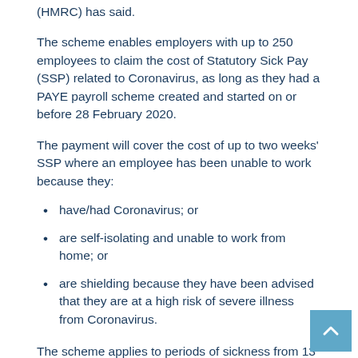(HMRC) has said.
The scheme enables employers with up to 250 employees to claim the cost of Statutory Sick Pay (SSP) related to Coronavirus, as long as they had a PAYE payroll scheme created and started on or before 28 February 2020.
The payment will cover the cost of up to two weeks' SSP where an employee has been unable to work because they:
have/had Coronavirus; or
are self-isolating and unable to work from home; or
are shielding because they have been advised that they are at a high risk of severe illness from Coronavirus.
The scheme applies to periods of sickness from 13 March 2020 in respect of employees with